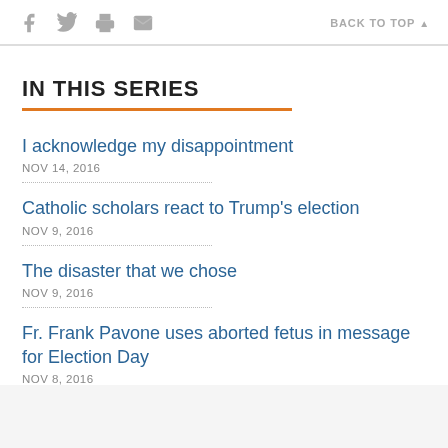f [facebook] [twitter] [print] [email]    BACK TO TOP ▲
IN THIS SERIES
I acknowledge my disappointment
NOV 14, 2016
Catholic scholars react to Trump's election
NOV 9, 2016
The disaster that we chose
NOV 9, 2016
Fr. Frank Pavone uses aborted fetus in message for Election Day
NOV 8, 2016